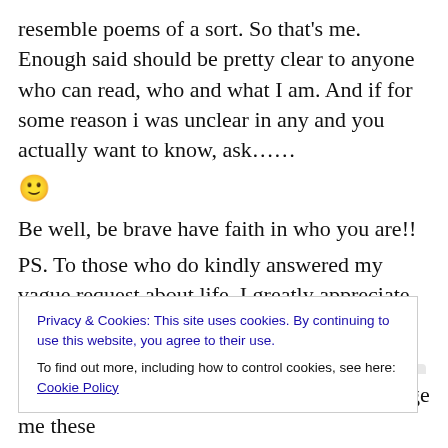resemble poems of a sort. So that's me. Enough said should be pretty clear to anyone who can read, who and what I am. And if for some reason i was unclear in any and you actually want to know, ask……
🙂
Be well, be brave have faith in who you are!!
PS. To those who do kindly answered my vague request about life, I greatly appreciate that. I can't speak about it directly because in my town a lot of people know exactly who I am and what I do, and if I broadcast some major life changing event (like I just may have) then its 400 emails
Privacy & Cookies: This site uses cookies. By continuing to use this website, you agree to their use.
To find out more, including how to control cookies, see here: Cookie Policy
Close and accept
it sure seems like life really wants to challenge me these